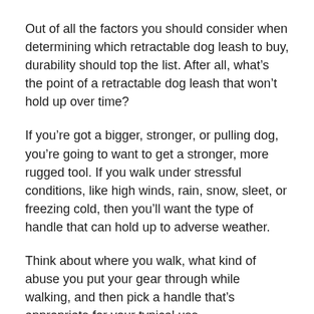Out of all the factors you should consider when determining which retractable dog leash to buy, durability should top the list. After all, what’s the point of a retractable dog leash that won’t hold up over time?
If you’re got a bigger, stronger, or pulling dog, you’re going to want to get a stronger, more rugged tool. If you walk under stressful conditions, like high winds, rain, snow, sleet, or freezing cold, then you’ll want the type of handle that can hold up to adverse weather.
Think about where you walk, what kind of abuse you put your gear through while walking, and then pick a handle that’s appropriate for your typical use.
The Handle
As the Handle is what you’ll be interacting with most, you